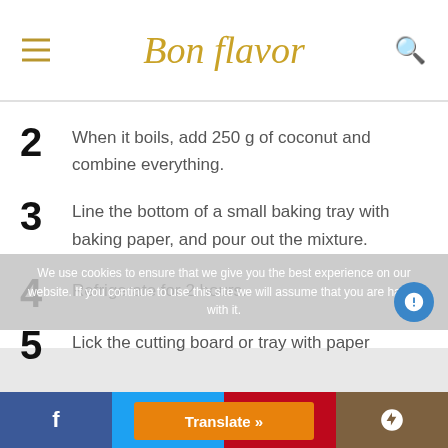Bon flavor
2 When it boils, add 250 g of coconut and combine everything.
3 Line the bottom of a small baking tray with baking paper, and pour out the mixture.
4 Refrigerate for 2 hours.
5 Lick the cutting board or tray with paper
We use cookies to ensure that we give you the best experience on our website. If you continue to use this site we will assume that you are happy with it.
f  Twitter  Pinterest  Google+  Translate »